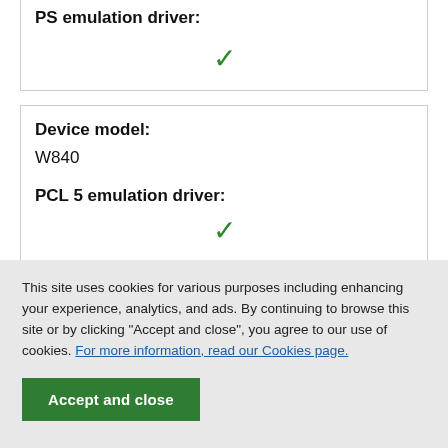PS emulation driver:
✓
| Device model: |  |
| W840 |  |
| PCL 5 emulation driver: |  |
| ✓ |  |
This site uses cookies for various purposes including enhancing your experience, analytics, and ads. By continuing to browse this site or by clicking "Accept and close", you agree to our use of cookies. For more information, read our Cookies page.
Accept and close